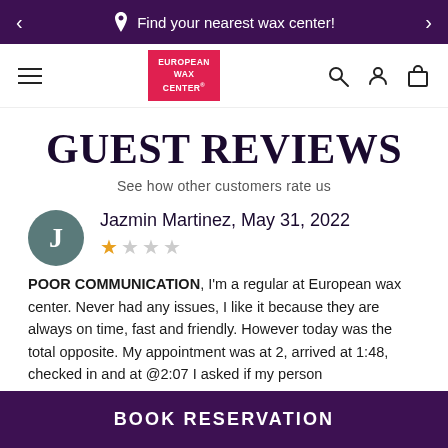Find your nearest wax center!
[Figure (logo): European Wax Center logo — red rectangle with white text: EUROPEAN WAX CENTER]
GUEST REVIEWS
See how other customers rate us
Jazmin Martinez, May 31, 2022 — 1 star out of 5
POOR COMMUNICATION, I'm a regular at European wax center. Never had any issues, I like it because they are always on time, fast and friendly. However today was the total opposite. My appointment was at 2, arrived at 1:48, checked in and at @2:07 I asked if my person
BOOK RESERVATION